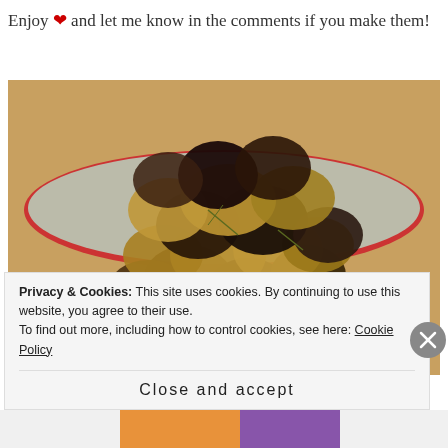Enjoy ❤ and let me know in the comments if you make them!
[Figure (photo): A bowl of roasted mixed potatoes (golden and purple varieties) piled high in a red-rimmed bowl on a wooden surface.]
Privacy & Cookies: This site uses cookies. By continuing to use this website, you agree to their use.
To find out more, including how to control cookies, see here: Cookie Policy
Close and accept